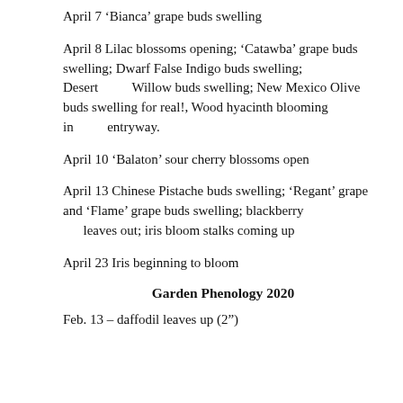April 7 'Bianca' grape buds swelling
April 8 Lilac blossoms opening; 'Catawba' grape buds swelling; Dwarf False Indigo buds swelling; Desert Willow buds swelling; New Mexico Olive buds swelling for real!, Wood hyacinth blooming in entryway.
April 10 'Balaton' sour cherry blossoms open
April 13 Chinese Pistache buds swelling; 'Regant' grape and 'Flame' grape buds swelling; blackberry leaves out; iris bloom stalks coming up
April 23 Iris beginning to bloom
Garden Phenology 2020
Feb. 13 – daffodil leaves up (2")